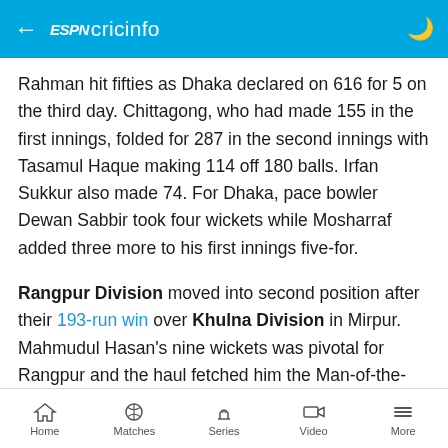ESPN cricinfo
Rahman hit fifties as Dhaka declared on 616 for 5 on the third day. Chittagong, who had made 155 in the first innings, folded for 287 in the second innings with Tasamul Haque making 114 off 180 balls. Irfan Sukkur also made 74. For Dhaka, pace bowler Dewan Sabbir took four wickets while Mosharraf added three more to his first innings five-for.
Rangpur Division moved into second position after their 193-run win over Khulna Division in Mirpur. Mahmudul Hasan's nine wickets was pivotal for Rangpur and the haul fetched him the Man-of-the-Match award.
Home  Matches  Series  Video  More